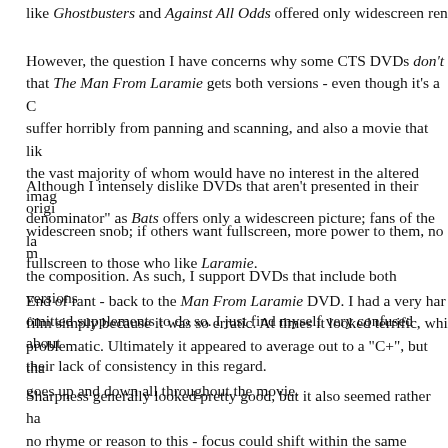like Ghostbusters and Against All Odds offered only widescreen ren...
However, the question I have concerns why some CTS DVDs don't ... that The Man From Laramie gets both versions - even though it's a C... suffer horribly from panning and scanning, and also a movie that lik... the vast majority of whom would have no interest in the altered imag... denominator" as Bats offers only a widescreen picture; fans of the la... fullscreen to those who like Laramie.
Although I intensely dislike DVDs that aren't presented in their origi... widescreen snob; if others want fullscreen, more power to them, no m... the composition. As such, I support DVDs that include both versions... omitted supplements to do so. I just find myself very confused about... their lack of consistency in this regard.
End of rant - back to the Man From Laramie DVD. I had a very har... film simply because it was so erratic. At times it looked terrific, whi... problematic. Ultimately it appeared to average out to a "C+", but tha... goes up and down all throughout the movie.
Sharpness generally looked pretty good, but it also seemed rather ha... no rhyme or reason to this - focus could shift within the same scene,... Moiré effects were surprisingly absent, given the complexity of the w... often causes a lot of shimmering), but I did see some problems with... 4X3 TV; a small amount of "ropiness" entered the image during a nu...